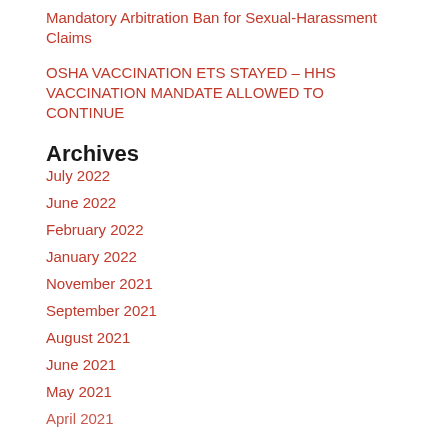Mandatory Arbitration Ban for Sexual-Harassment Claims
OSHA VACCINATION ETS STAYED – HHS VACCINATION MANDATE ALLOWED TO CONTINUE
Archives
July 2022
June 2022
February 2022
January 2022
November 2021
September 2021
August 2021
June 2021
May 2021
April 2021